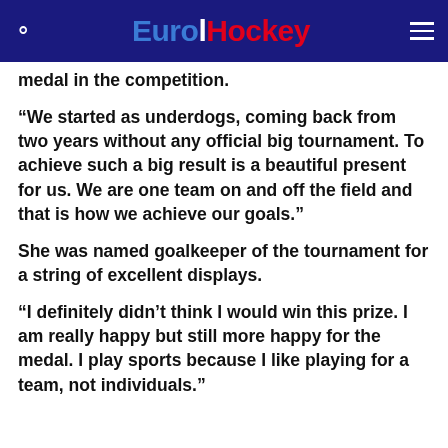EuroHockey
medal in the competition.
“We started as underdogs, coming back from two years without any official big tournament. To achieve such a big result is a beautiful present for us. We are one team on and off the field and that is how we achieve our goals.”
She was named goalkeeper of the tournament for a string of excellent displays.
“I definitely didn’t think I would win this prize. I am really happy but still more happy for the medal. I play sports because I like playing for a team, not individuals.”